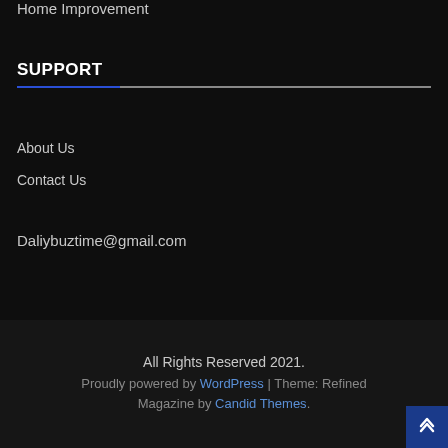Home Improvement
SUPPORT
About Us
Contact Us
Daliybuztime@gmail.com
All Rights Reserved 2021. Proudly powered by WordPress | Theme: Refined Magazine by Candid Themes.